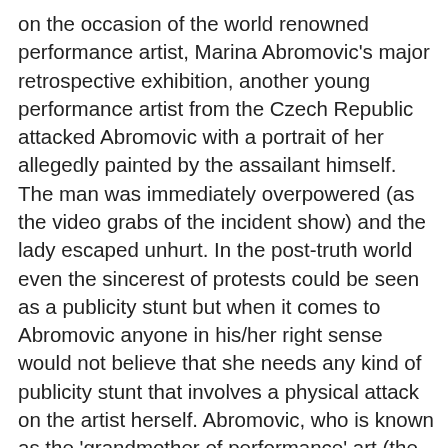on the occasion of the world renowned performance artist, Marina Abromovic's major retrospective exhibition, another young performance artist from the Czech Republic attacked Abromovic with a portrait of her allegedly painted by the assailant himself. The man was immediately overpowered (as the video grabs of the incident show) and the lady escaped unhurt. In the post-truth world even the sincerest of protests could be seen as a publicity stunt but when it comes to Abromovic anyone in his/her right sense would not believe that she needs any kind of publicity stunt that involves a physical attack on the artist herself. Abromovic, who is known as the 'grandmother of performance' art (the term 'matriarch' may be reeking with the smell of a binary that even her direst of critics wouldn't like to attribute to her. Grandmother, the affectionate term not only qualifies her authority in the field but also positions her as the pioneer in/of it) has done enough acts that extended,